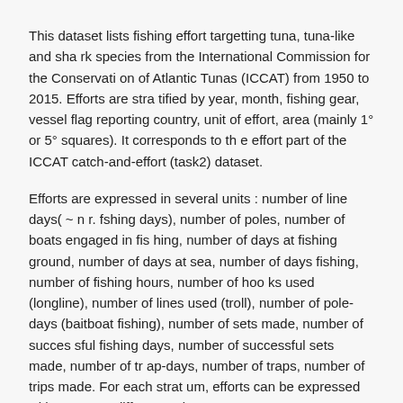This dataset lists fishing effort targetting tuna, tuna-like and shark species from the International Commission for the Conservation of Atlantic Tunas (ICCAT) from 1950 to 2015. Efforts are stratified by year, month, fishing gear, vessel flag reporting country, unit of effort, area (mainly 1° or 5° squares). It corresponds to the effort part of the ICCAT catch-and-effort (task2) dataset.
Efforts are expressed in several units : number of line days( ~ nr. fshing days), number of poles, number of boats engaged in fishing, number of days at fishing ground, number of days at sea, number of days fishing, number of fishing hours, number of hooks used (longline), number of lines used (troll), number of pole-days (baitboat fishing), number of sets made, number of successful fishing days, number of successful sets made, number of trap-days, number of traps, number of trips made. For each stratum, efforts can be expressed with up to two different units.
This dataset was downloaded on the ICCAT website. It was then restructured to be in line with the Sardara database structure (columns normalization, names, etc.). However the content of data and the code lists were kept exactly as their are available in the source dataset.